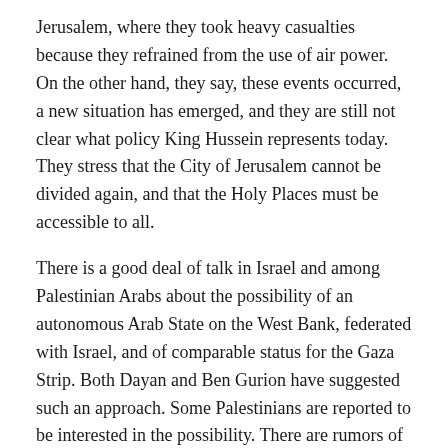Jerusalem, where they took heavy casualties because they refrained from the use of air power. On the other hand, they say, these events occurred, a new situation has emerged, and they are still not clear what policy King Hussein represents today. They stress that the City of Jerusalem cannot be divided again, and that the Holy Places must be accessible to all.
There is a good deal of talk in Israel and among Palestinian Arabs about the possibility of an autonomous Arab State on the West Bank, federated with Israel, and of comparable status for the Gaza Strip. Both Dayan and Ben Gurion have suggested such an approach. Some Palestinians are reported to be interested in the possibility. There are rumors of possible meetings of Arab notables. There is always a possibility that such meetings could be stage-managed by the Israelis to come up with a statement or even a declaration calling for a separation of the West Bank from Jordan. Such a procedure would follow that of Jordan in annexing the West Bank in the first place.
There would be political danger if Israel tried to set up a semi-autonomous Arab State on the West Bank by unilateral action.